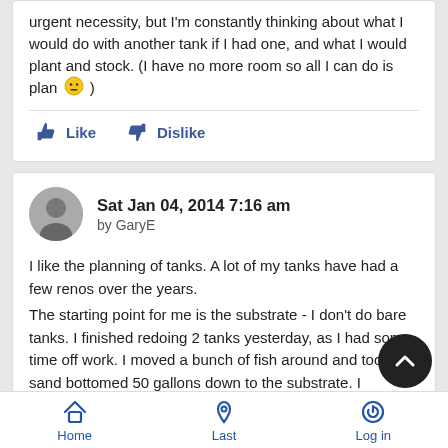urgent necessity, but I'm constantly thinking about what I would do with another tank if I had one, and what I would plant and stock. (I have no more room so all I can do is plan 😐 )
Like   Dislike
Sat Jan 04, 2014 7:16 am
by GaryE
I like the planning of tanks. A lot of my tanks have had a few renos over the years.
The starting point for me is the substrate - I don't do bare tanks. I finished redoing 2 tanks yesterday, as I had some time off work. I moved a bunch of fish around and took 2 sand bottomed 50 gallons down to the substrate. I arranged the rocks to create three cichlid territories in each and the plants to give cover high. The filtration stayed the same.
I know the sand is neutral, and I want this to be a soft water
Home   Last   Log in